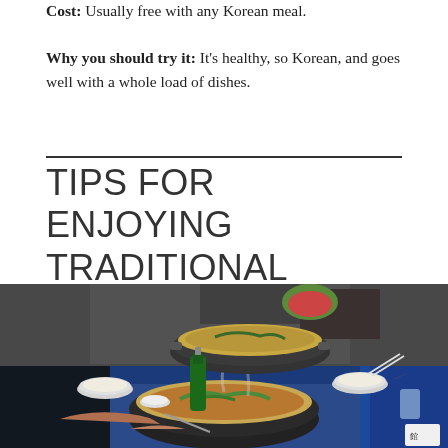Cost: Usually free with any Korean meal.
Why you should try it: It's healthy, so Korean, and goes well with a whole load of dishes.
TIPS FOR ENJOYING TRADITIONAL KOREAN DISHES
[Figure (photo): People sitting around a table with large steaming pots of Korean food, including stew in a communal pot and individual bowls, with a green glass bottle visible.]